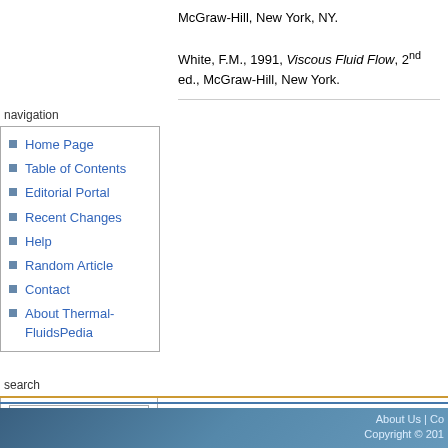McGraw-Hill, New York, NY.

White, F.M., 1991, Viscous Fluid Flow, 2nd ed., McGraw-Hill, New York.
navigation
Home Page
Table of Contents
Editorial Portal
Recent Changes
Help
Random Article
Contact
About Thermal-FluidsPedia
search
About Us | Co... Copyright © 201...